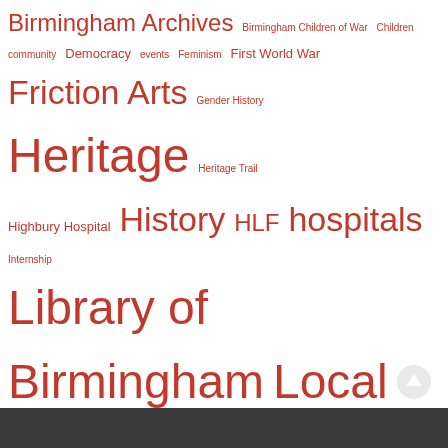[Figure (infographic): Tag cloud with terms of varying sizes in red/brown color related to Birmingham history, archives, and heritage topics. Terms include: Birmingham Archives, Birmingham Children of War, Children, community, Democracy, events, Feminism, First World War, Friction Arts, Gender History, Heritage, Heritage Trail, Highbury Hospital, History, HLF, hospitals, Internship, Library of Birmingham, Local History, Lodge Hill Cemetery, military, Paganel Archives, Paganel School, Photography, project, Rachel Gillies, Representation of the People Act, Sarehole Mill, Soldiers, Stories, Suffrage, Suffragettes, theatre, Thomas Attwood, Untold Stories, Wholesale Market, Women's History, Women's suffrage, World War 1, World War One, WW1]